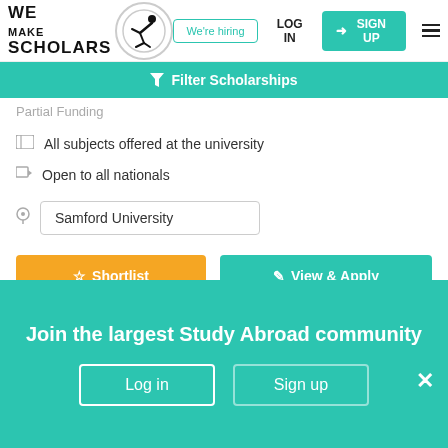[Figure (logo): We Make Scholars logo with stylized figure and circular border]
We're hiring
LOG IN
SIGN UP
Filter Scholarships
Partial Funding
All subjects offered at the university
Open to all nationals
Samford University
Shortlist
View & Apply
Update your status of this scholarship
Join the largest Study Abroad community
Log in
Sign up